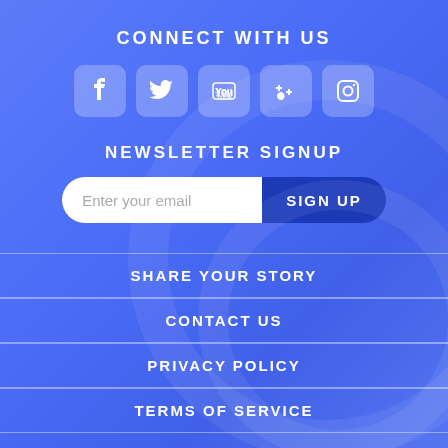CONNECT WITH US
[Figure (illustration): Five social media icons in rounded square containers: Facebook, Twitter, YouTube, Google+, Instagram]
NEWSLETTER SIGNUP
Enter your email / SIGN UP button
SHARE YOUR STORY
CONTACT US
PRIVACY POLICY
TERMS OF SERVICE
Search ... / SEARCH button